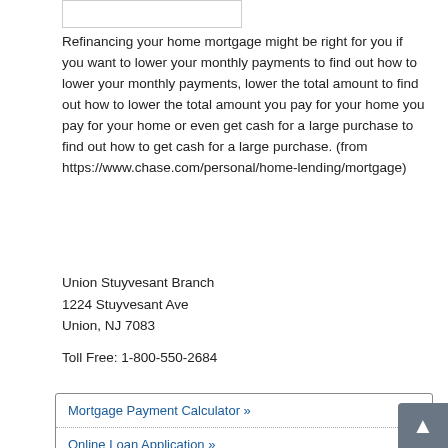Refinancing your home mortgage might be right for you if you want to lower your monthly payments to find out how to lower your monthly payments, lower the total amount to find out how to lower the total amount you pay for your home you pay for your home or even get cash for a large purchase to find out how to get cash for a large purchase. (from https://www.chase.com/personal/home-lending/mortgage)
Union Stuyvesant Branch
1224 Stuyvesant Ave
Union, NJ 7083
Toll Free: 1-800-550-2684
Mortgage Payment Calculator »
Online Loan Application »